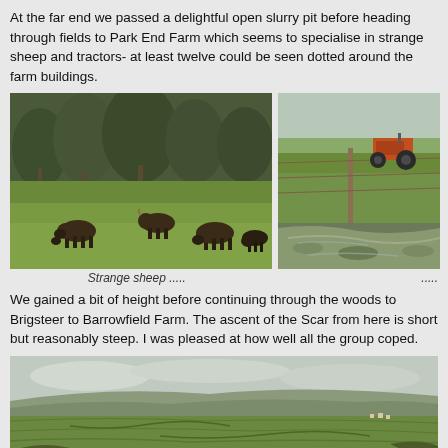At the far end we passed a delightful open slurry pit before heading through fields to Park End Farm which seems to specialise in strange sheep and tractors- at least twelve could be seen dotted around the farm buildings.
[Figure (photo): Dark brown sheep grazing on a green field with woodland in the background]
[Figure (photo): Green field with a stream/muddy area and an orange tractor in the background]
Strange sheep .....
.....
We gained a bit of height before continuing through the woods to Brigsteer to Barrowfield Farm. The ascent of the Scar from here is short but reasonably steep. I was pleased at how well all the group coped.
[Figure (photo): Panoramic landscape view of a wide valley with green fields, hills, and an overcast sky]